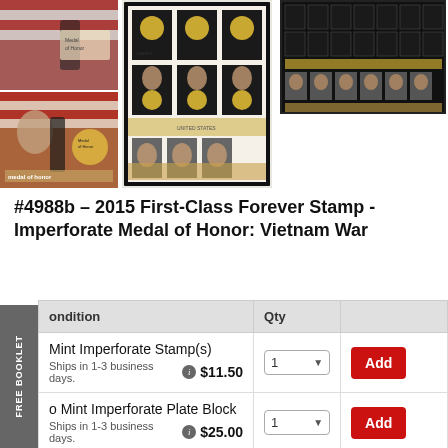[Figure (photo): Three product images of Medal of Honor Vietnam War stamps: left shows two first day covers with American flag and soldier imagery, center shows a full stamp sheet with Medal of Honor stamps featuring portraits, right shows a stamp pane layout with black and portrait stamps.]
#4988b – 2015 First-Class Forever Stamp - Imperforate Medal of Honor: Vietnam War
| Condition | Qty |  |
| --- | --- | --- |
| Mint Imperforate Stamp(s)
Ships in 1-3 business days.  $11.50 | 1 | Add |
| o Mint Imperforate Plate Block
Ships in 1-3 business days.  $25.00 | 1 | Add |